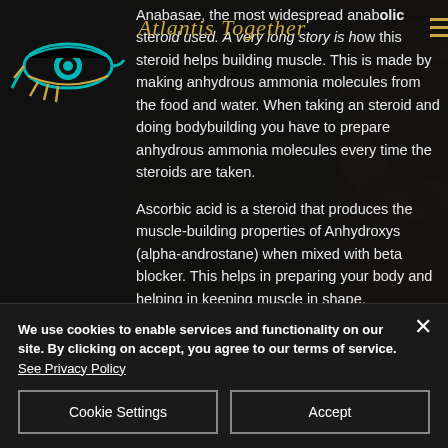Atlantis Together
Anabasae, the most widespread anabolic steroid used. A very long story is how this steroid helps building muscle. This is made by making anhydrous ammonia molecules from the food and water. When taking an steroid and doing bodybuilding you have to prepare anhydrous ammonia molecules every time the steroids are taken.
Ascorbic acid is a steroid that produces the muscle-building properties of Anhydroxys (alpha-androstane) when mixed with beta blocker. This helps in preparing your body and helping in keeping muscle in shape.
We use cookies to enable services and functionality on our site. By clicking on accept, you agree to our terms of service. See Privacy Policy